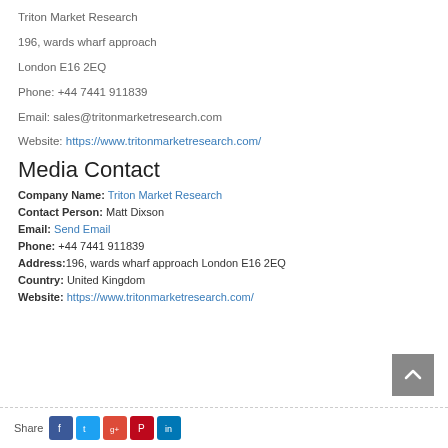Triton Market Research
196, wards wharf approach
London E16 2EQ
Phone:  +44 7441 911839
Email:  sales@tritonmarketresearch.com
Website:  https://www.tritonmarketresearch.com/
Media Contact
Company Name: Triton Market Research
Contact Person: Matt Dixson
Email: Send Email
Phone: +44 7441 911839
Address:196, wards wharf approach London E16 2EQ
Country: United Kingdom
Website: https://www.tritonmarketresearch.com/
Share